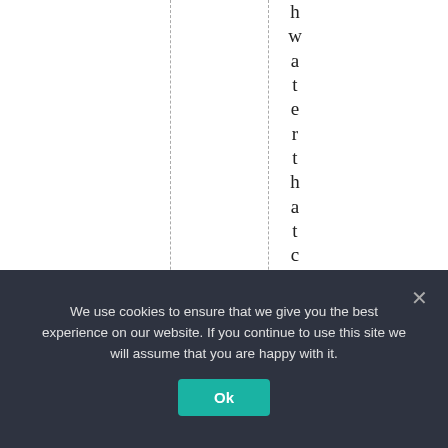hwaterthattcanaffec
We use cookies to ensure that we give you the best experience on our website. If you continue to use this site we will assume that you are happy with it.